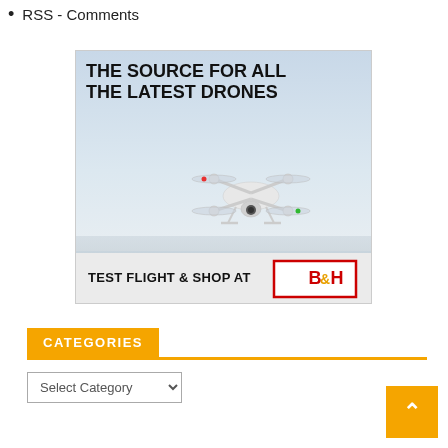RSS - Comments
[Figure (photo): Advertisement for B&H Photo showing a white quadcopter drone flying against a light blue sky with text 'THE SOURCE FOR ALL THE LATEST DRONES' and 'TEST FLIGHT & SHOP AT B&H']
CATEGORIES
Select Category